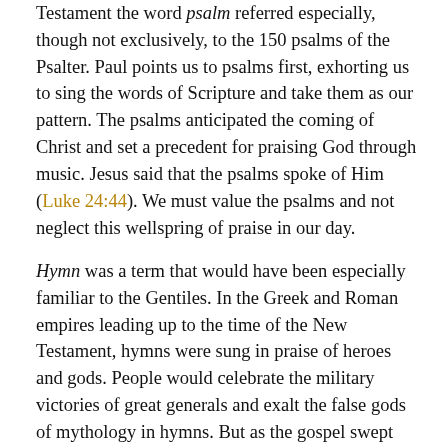Testament the word psalm referred especially, though not exclusively, to the 150 psalms of the Psalter. Paul points us to psalms first, exhorting us to sing the words of Scripture and take them as our pattern. The psalms anticipated the coming of Christ and set a precedent for praising God through music. Jesus said that the psalms spoke of Him (Luke 24:44). We must value the psalms and not neglect this wellspring of praise in our day.
Hymn was a term that would have been especially familiar to the Gentiles. In the Greek and Roman empires leading up to the time of the New Testament, hymns were sung in praise of heroes and gods. People would celebrate the military victories of great generals and exalt the false gods of mythology in hymns. But as the gospel swept across the known